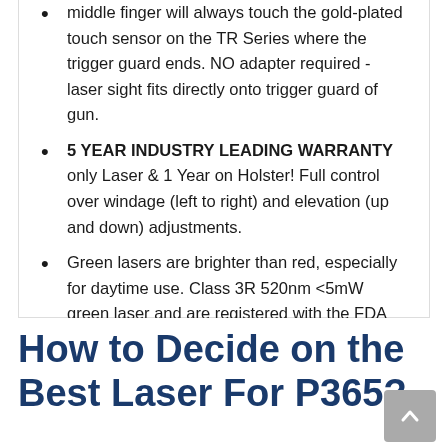middle finger will always touch the gold-plated touch sensor on the TR Series where the trigger guard ends. NO adapter required - laser sight fits directly onto trigger guard of gun.
5 YEAR INDUSTRY LEADING WARRANTY only Laser & 1 Year on Holster! Full control over windage (left to right) and elevation (up and down) adjustments.
Green lasers are brighter than red, especially for daytime use. Class 3R 520nm <5mW green laser and are registered with the FDA as a laser manufacturer.
Check Price on Amazon
How to Decide on the Best Laser For P365?